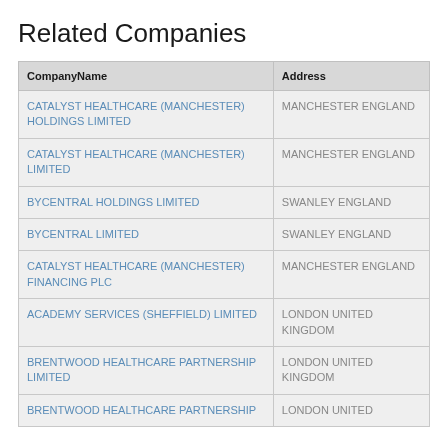Related Companies
| CompanyName | Address |
| --- | --- |
| CATALYST HEALTHCARE (MANCHESTER) HOLDINGS LIMITED | MANCHESTER ENGLAND |
| CATALYST HEALTHCARE (MANCHESTER) LIMITED | MANCHESTER ENGLAND |
| BYCENTRAL HOLDINGS LIMITED | SWANLEY ENGLAND |
| BYCENTRAL LIMITED | SWANLEY ENGLAND |
| CATALYST HEALTHCARE (MANCHESTER) FINANCING PLC | MANCHESTER ENGLAND |
| ACADEMY SERVICES (SHEFFIELD) LIMITED | LONDON UNITED KINGDOM |
| BRENTWOOD HEALTHCARE PARTNERSHIP LIMITED | LONDON UNITED KINGDOM |
| BRENTWOOD HEALTHCARE PARTNERSHIP | LONDON UNITED |